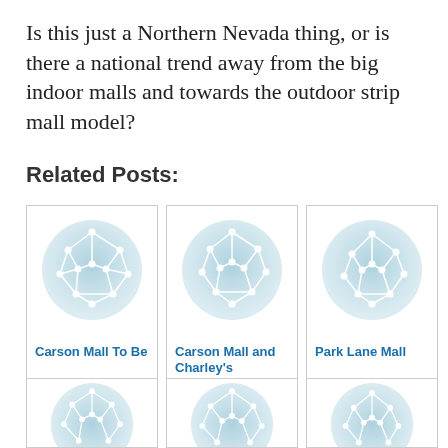Is this just a Northern Nevada thing, or is there a national trend away from the big indoor malls and towards the outdoor strip mall model?
Related Posts:
[Figure (illustration): Network/graph icon — circular light blue background with white geometric network nodes and edges forming a polyhedron shape. Card labeled 'Carson Mall To Be']
[Figure (illustration): Network/graph icon — circular light blue background with white geometric network nodes and edges. Card labeled 'Carson Mall and Charley's']
[Figure (illustration): Network/graph icon — circular light blue background with white geometric network nodes and edges. Card labeled 'Park Lane Mall']
[Figure (illustration): Network/graph icon — circular light blue background with white geometric network nodes and edges. Partial card in second row.]
[Figure (illustration): Network/graph icon — circular light blue background with white geometric network nodes and edges. Partial card in second row.]
[Figure (illustration): Network/graph icon — circular light blue background with white geometric network nodes and edges. Partial card in second row.]